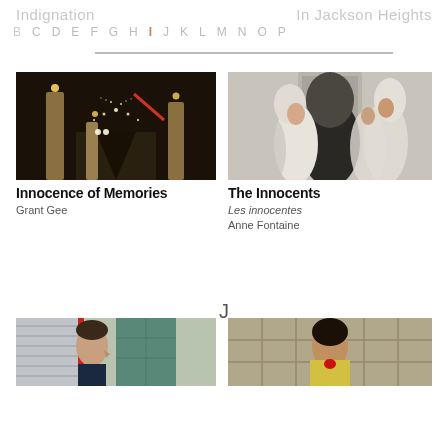Indignation  B C D E F G H I J K L M N O P  In Jackson Heights
[Figure (photo): Night scene of a bridge with illuminated pillars and city lights in the background, dark road in foreground]
Innocence of Memories
Grant Gee
[Figure (photo): Group of nuns in white and dark habits gathered closely together indoors]
The Innocents
Les innocentes
Anne Fontaine
J
[Figure (photo): Man in profile view standing near a teal-colored door or window frame with a red stripe visible]
[Figure (photo): Woman standing in a room with wooden shelving or windows, wearing a yellow top with a red bow]